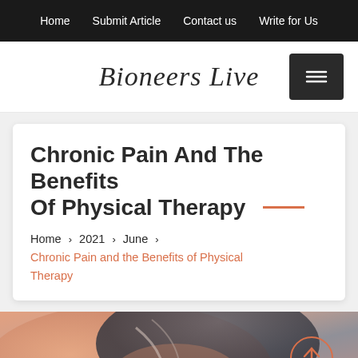Home   Submit Article   Contact us   Write for Us
Bioneers Live
Chronic Pain And The Benefits Of Physical Therapy
Home > 2021 > June > Chronic Pain and the Benefits of Physical Therapy
[Figure (photo): Close-up photo of a person's neck/shoulder area showing skin and muscle, with a circular orange back-to-top arrow button overlaid in the bottom right.]